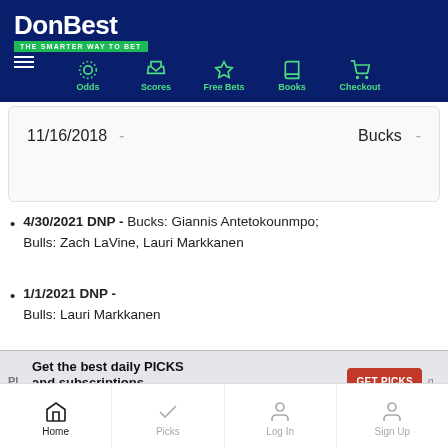DonBest - THE SMARTER WAY TO BET | Odds | Scores | Free Bets | Books | Checkout
| Date |  | Team |  |
| --- | --- | --- | --- |
| 11/16/2018 | - | Bucks | - |
4/30/2021 DNP - Bucks: Giannis Antetokounmpo; Bulls: Zach LaVine, Lauri Markkanen
1/1/2021 DNP - Bulls: Lauri Markkanen
[Figure (screenshot): Advertisement banner: Get the best daily PICKS and subscriptions. Stay informed with DonBest.Cappers. GET PICKS button.]
Home | Picks | Log In | Sign Up